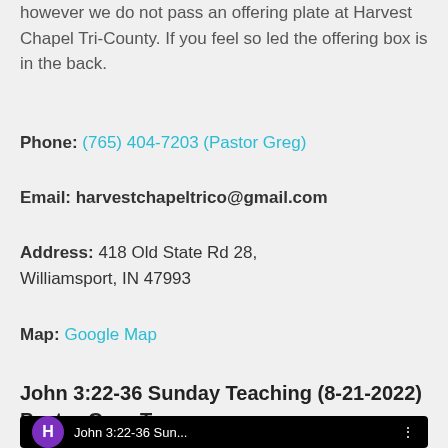however we do not pass an offering plate at Harvest Chapel Tri-County. If you feel so led the offering box is in the back.
Phone: (765) 404-7203 (Pastor Greg)
Email: harvestchapeltrico@gmail.com
Address: 418 Old State Rd 28, Williamsport, IN 47993
Map: Google Map
John 3:22-36 Sunday Teaching (8-21-2022) Pastor Greg Tyra
[Figure (screenshot): Video thumbnail with purple H circle icon and text 'John 3:22-36 Sun...' on black background with three-dot menu icon]